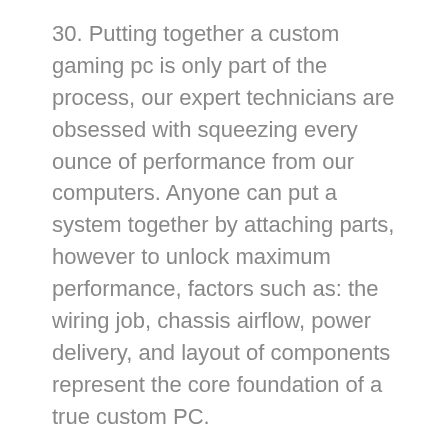30. Putting together a custom gaming pc is only part of the process, our expert technicians are obsessed with squeezing every ounce of performance from our computers. Anyone can put a system together by attaching parts, however to unlock maximum performance, factors such as: the wiring job, chassis airflow, power delivery, and layout of components represent the core foundation of a true custom PC.
31. Our Sprite editor helps you to design your characters and other graphics. The Object editor makes things happen in the game, and fast! The Room editor provides design tools and camera controls. The Tileset editor enables you to convert sprites into tiles to quickly design rooms.
32. General game related discussion is allowed, but game-specific help requests (how to defeat a certain